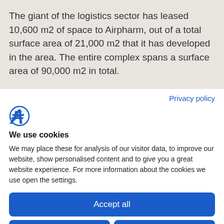The giant of the logistics sector has leased 10,600 m2 of space to Airpharm, out of a total surface area of 21,000 m2 that it has developed in the area. The entire complex spans a surface area of 90,000 m2 in total.
Privacy policy
[Figure (logo): Blue stylized letter F logo]
We use cookies
We may place these for analysis of our visitor data, to improve our website, show personalised content and to give you a great website experience. For more information about the cookies we use open the settings.
Accept all
Deny
No, adjust